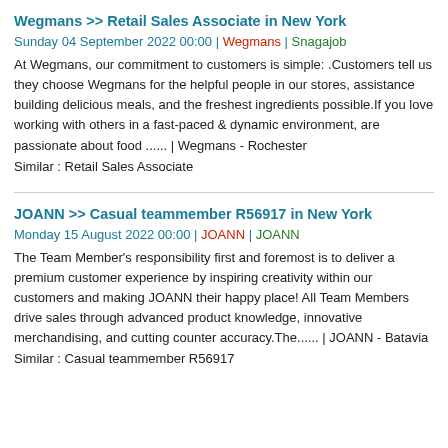Wegmans >> Retail Sales Associate in New York
Sunday 04 September 2022 00:00 | Wegmans | Snagajob
At Wegmans, our commitment to customers is simple: .Customers tell us they choose Wegmans for the helpful people in our stores, assistance building delicious meals, and the freshest ingredients possible.If you love working with others in a fast-paced & dynamic environment, are passionate about food ...... | Wegmans - Rochester
Similar : Retail Sales Associate
JOANN >> Casual teammember R56917 in New York
Monday 15 August 2022 00:00 | JOANN | JOANN
The Team Member's responsibility first and foremost is to deliver a premium customer experience by inspiring creativity within our customers and making JOANN their happy place! All Team Members drive sales through advanced product knowledge, innovative merchandising, and cutting counter accuracy.The...... | JOANN - Batavia
Similar : Casual teammember R56917